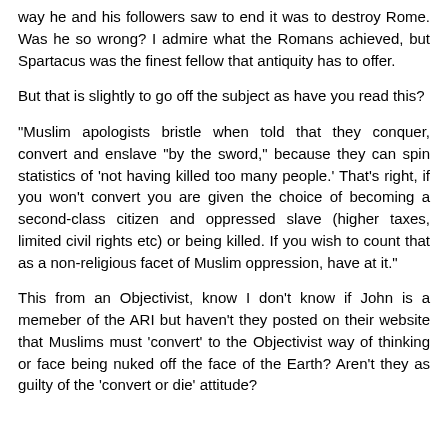way he and his followers saw to end it was to destroy Rome. Was he so wrong? I admire what the Romans achieved, but Spartacus was the finest fellow that antiquity has to offer.
But that is slightly to go off the subject as have you read this?
"Muslim apologists bristle when told that they conquer, convert and enslave "by the sword," because they can spin statistics of 'not having killed too many people.' That's right, if you won't convert you are given the choice of becoming a second-class citizen and oppressed slave (higher taxes, limited civil rights etc) or being killed. If you wish to count that as a non-religious facet of Muslim oppression, have at it."
This from an Objectivist, know I don't know if John is a memeber of the ARI but haven't they posted on their website that Muslims must 'convert' to the Objectivist way of thinking or face being nuked off the face of the Earth? Aren't they as guilty of the 'convert or die' attitude?